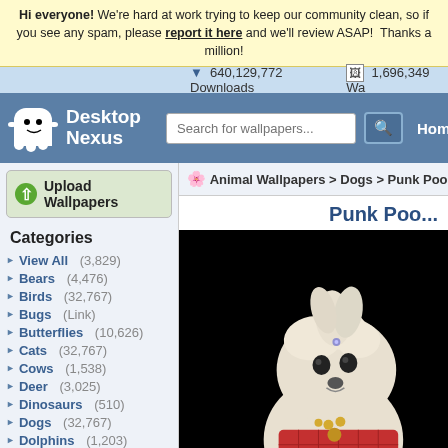Hi everyone! We're hard at work trying to keep our community clean, so if you see any spam, please report it here and we'll review ASAP! Thanks a million!
640,129,772 Downloads   1,696,349 Wallpapers
[Figure (screenshot): Desktop Nexus logo — a cartoon white ghost/marshmallow character with simple face, with text 'Desktop Nexus' in white]
Search for wallpapers... [search box] Home
Upload Wallpapers
Animal Wallpapers > Dogs > Punk Poo...
Categories
View All (3,829)
Bears (4,476)
Birds (32,767)
Bugs (Link)
Butterflies (10,626)
Cats (32,767)
Cows (1,538)
Deer (3,025)
Dinosaurs (510)
Dogs (32,767)
Dolphins (1,203)
Ducks (1,524)
Elephants (1,298)
Fish (3,162)
Frogs (5,708)
Punk Poo...
[Figure (photo): A small fluffy white dog dressed in punk/rock style clothing with spiky hair, jewelry/accessories, against a black background]